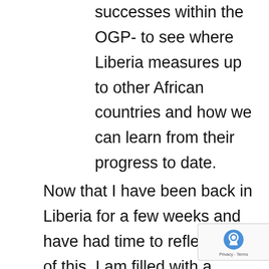successes within the OGP- to see where Liberia measures up to other African countries and how we can learn from their progress to date.
Now that I have been back in Liberia for a few weeks and have had time to reflect on all of this, I am filled with a renewed sense of energy and excitement around the OGP process. We have a Minister who has demonstrated clear commitment to the initiative, and a group of civil society actors who are coming together in constructive ways to support open government. We will validate our new action plan soon and...